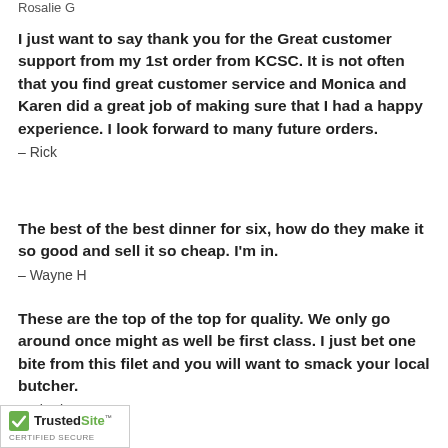Rosalie G
I just want to say thank you for the Great customer support from my 1st order from KCSC. It is not often that you find great customer service and Monica and Karen did a great job of making sure that I had a happy experience. I look forward to many future orders.
– Rick
The best of the best dinner for six, how do they make it so good and sell it so cheap. I'm in.
– Wayne H
These are the top of the top for quality. We only go around once might as well be first class. I just bet one bite from this filet and you will want to smack your local butcher.
– Charles H
[Figure (logo): TrustedSite CERTIFIED SECURE badge with green checkmark]